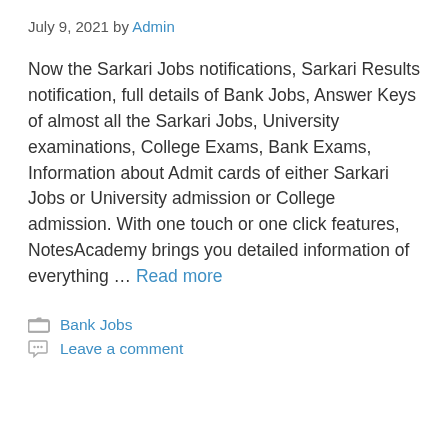July 9, 2021 by Admin
Now the Sarkari Jobs notifications, Sarkari Results notification, full details of Bank Jobs, Answer Keys of almost all the Sarkari Jobs, University examinations, College Exams, Bank Exams, Information about Admit cards of either Sarkari Jobs or University admission or College admission. With one touch or one click features, NotesAcademy brings you detailed information of everything … Read more
Bank Jobs
Leave a comment